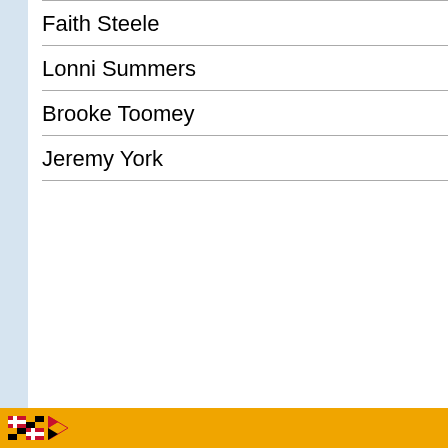Faith Steele
Lonni Summers
Brooke Toomey
Jeremy York
Maryland state government footer with flag logo